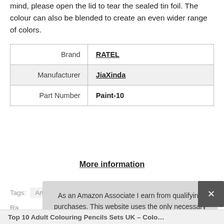mind, please open the lid to tear the sealed tin foil. The colour can also be blended to create an even wider range of colors.
|  |  |
| --- | --- |
| Brand | RATEL |
| Manufacturer | JiaXinda |
| Part Number | Paint-10 |
More information
Tags: Artwory  Blue Box  Kuval  UOUITEX  Nassau
Ra
As an Amazon Associate I earn from qualifying purchases. This website uses the only necessary cookies to ensure you get the best experience on our website. More information
Top 10 Adult Colouring Pencils Sets UK – Colo…